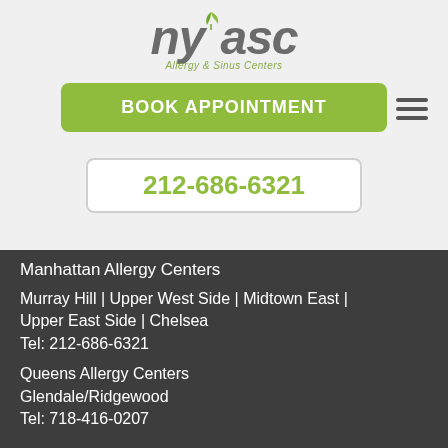[Figure (logo): NYASC - NY Allergy & Sinus Centers logo with green leaf icon]
BOOK APPOINTMENT
212-686-6321
Manhattan Allergy Centers
Murray Hill | Upper West Side | Midtown East | Upper East Side | Chelsea
Tel: 212-686-6321
Queens Allergy Centers
Glendale/Ridgewood
Tel: 718-416-0207